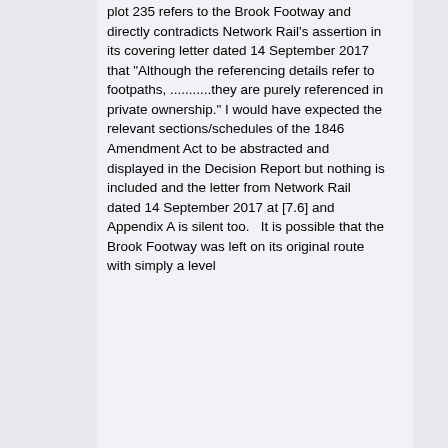plot 235 refers to the Brook Footway and directly contradicts Network Rail's assertion in its covering letter dated 14 September 2017 that "Although the referencing details refer to footpaths, ...........they are purely referenced in private ownership." I would have expected the relevant sections/schedules of the 1846 Amendment Act to be abstracted and displayed in the Decision Report but nothing is included and the letter from Network Rail dated 14 September 2017 at [7.6] and Appendix A is silent too.   It is possible that the Brook Footway was left on its original route with simply a level